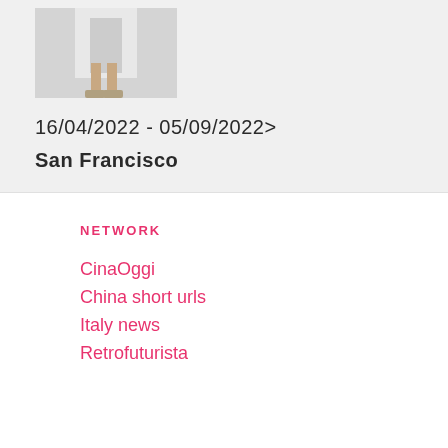[Figure (photo): Fashion photo showing lower body of a person wearing white clothing and platform shoes against a light background]
16/04/2022 - 05/09/2022>
San Francisco
NETWORK
CinaOggi
China short urls
Italy news
Retrofuturista